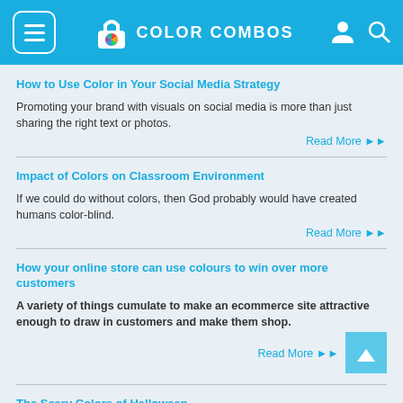COLOR COMBOS
How to Use Color in Your Social Media Strategy
Promoting your brand with visuals on social media is more than just sharing the right text or photos.
Read More ▶▶
Impact of Colors on Classroom Environment
If we could do without colors, then God probably would have created humans color-blind.
Read More ▶▶
How your online store can use colours to win over more customers
A variety of things cumulate to make an ecommerce site attractive enough to draw in customers and make them shop.
Read More ▶▶
The Scary Colors of Halloween